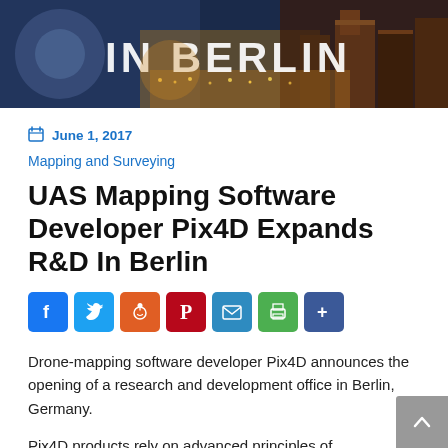[Figure (photo): Night aerial/cityscape photo of Berlin with text 'IN BERLIN' overlaid in white]
June 1, 2017
Mapping and Surveying
UAS Mapping Software Developer Pix4D Expands R&D In Berlin
[Figure (infographic): Social sharing icons: Facebook, Twitter, Reddit, Pinterest, Email, Print, Share]
Drone-mapping software developer Pix4D announces the opening of a research and development office in Berlin, Germany.
Pix4D products rely on advanced principles of photogrammetry, computer vision, and machine learning. “By opening this office, we’re showing in a very physical way how seriously our products are connected to